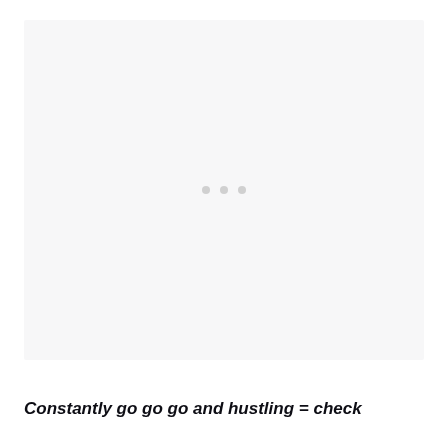[Figure (other): Large light gray placeholder image area with three small gray dots centered in the middle]
Constantly go go go and hustling = check